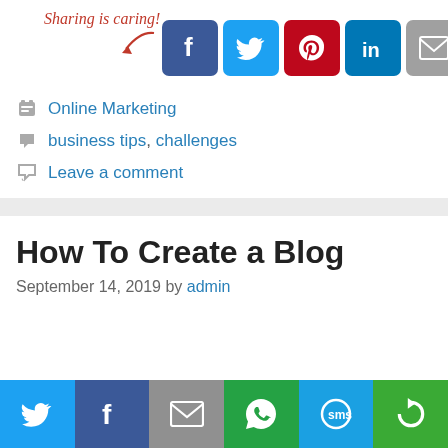[Figure (infographic): Sharing is caring! text with arrow and row of social media share buttons: Facebook, Twitter, Pinterest, LinkedIn, Email, RSS/rotation icon]
Online Marketing
business tips, challenges
Leave a comment
How To Create a Blog
September 14, 2019 by admin
[Figure (infographic): Bottom share bar with Twitter, Facebook, Email, WhatsApp, SMS, and rotation icon buttons]